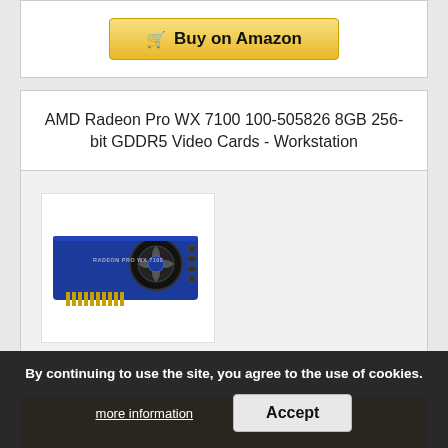[Figure (other): Buy on Amazon button with shopping cart icon]
AMD Radeon Pro WX 7100 100-505826 8GB 256-bit GDDR5 Video Cards - Workstation
[Figure (photo): Photo of AMD Radeon Pro WX 7100 graphics card, blue PCB with black fan]
$568.99
By continuing to use the site, you agree to the use of cookies.
more information
Accept